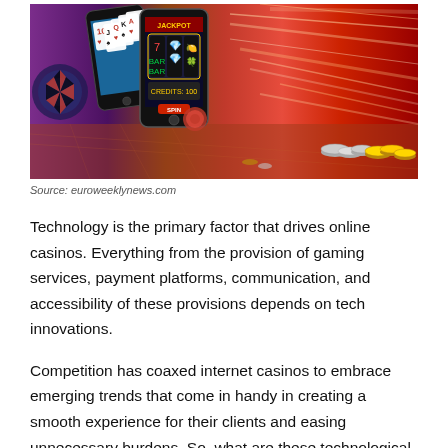[Figure (photo): Casino-themed promotional image showing smartphones with playing cards and slot machine graphics on the left, with red motion-blur speed lines and casino chips on the right]
Source: euroweeklynews.com
Technology is the primary factor that drives online casinos. Everything from the provision of gaming services, payment platforms, communication, and accessibility of these provisions depends on tech innovations.
Competition has coaxed internet casinos to embrace emerging trends that come in handy in creating a smooth experience for their clients and easing unnecessary burdens. So, what are these technological advancements making your favorite casino run effortlessly? Let's find out!